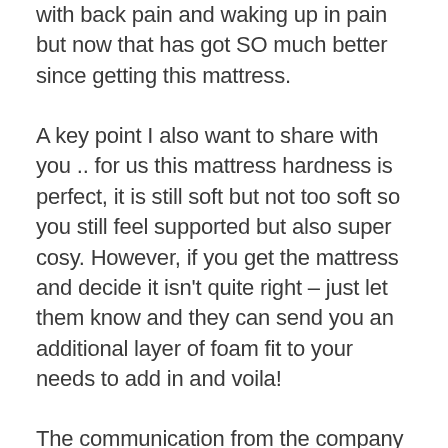with back pain and waking up in pain but now that has got SO much better since getting this mattress.
A key point I also want to share with you .. for us this mattress hardness is perfect, it is still soft but not too soft so you still feel supported but also super cosy. However, if you get the mattress and decide it isn't quite right – just let them know and they can send you an additional layer of foam fit to your needs to add in and voila!
The communication from the company was excellent as well which always helps and is really important in my eyes for a company to care about their customers so that is also an